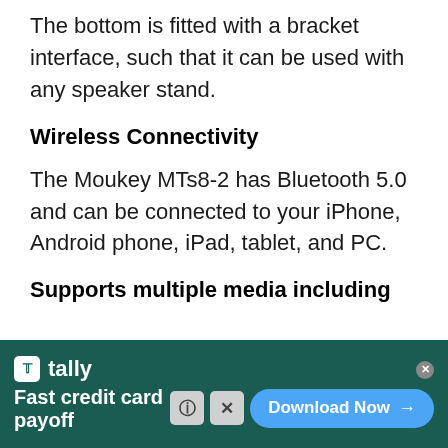The bottom is fitted with a bracket interface, such that it can be used with any speaker stand.
Wireless Connectivity
The Moukey MTs8-2 has Bluetooth 5.0 and can be connected to your iPhone, Android phone, iPad, tablet, and PC.
Supports multiple media including
[Figure (screenshot): Advertisement banner for Tally app - 'Fast credit card payoff' with a Download Now button, on a dark teal background.]